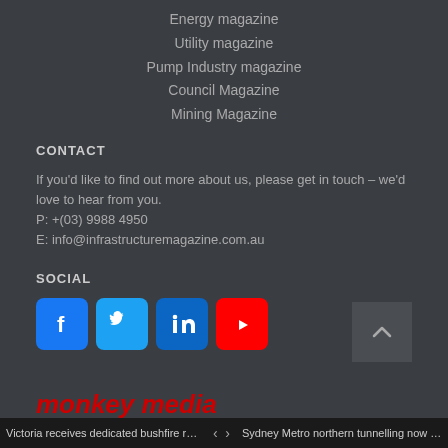Energy magazine
Utility magazine
Pump Industry magazine
Council Magazine
Mining Magazine
CONTACT
If you'd like to find out more about us, please get in touch – we'd love to hear from you.
P: +(03) 9988 4950
E: info@infrastructuremagazine.com.au
SOCIAL
[Figure (infographic): Social media icons: Facebook (blue), Twitter (blue), LinkedIn (blue), YouTube (red)]
[Figure (logo): monkey media logo in red italic text]
Victoria receives dedicated bushfire reco... < > Sydney Metro northern tunnelling now co...